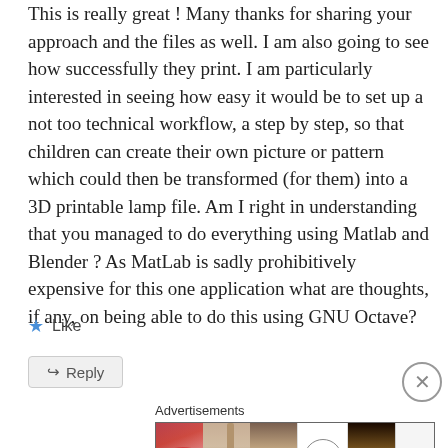This is really great ! Many thanks for sharing your approach and the files as well. I am also going to see how successfully they print. I am particularly interested in seeing how easy it would be to set up a not too technical workflow, a step by step, so that children can create their own picture or pattern which could then be transformed (for them) into a 3D printable lamp file. Am I right in understanding that you managed to do everything using Matlab and Blender ? As MatLab is sadly prohibitively expensive for this one application what are thoughts, if any, on being able to do this using GNU Octave?
Like
Reply
[Figure (other): Ulta Beauty advertisement banner showing makeup imagery including lips, brush, eye, Ulta Beauty logo, eye closeup, and SHOP NOW text]